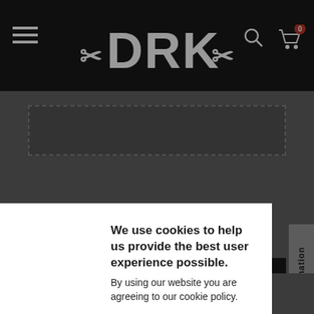[Figure (screenshot): DRK brand website header with hamburger menu, logo, search and cart icons on dark background]
Password *
[Figure (screenshot): Cookie consent modal popup with DRK logo, cookie policy text, Privacy Policy button, and I Accept Cookie Policy button]
We use cookies to help us provide the best user experience possible. By using our website you are agreeing to our cookie policy.
PRIVACY POLICY →
I ACCEPT COOKIE POLICY →
Save →
Information